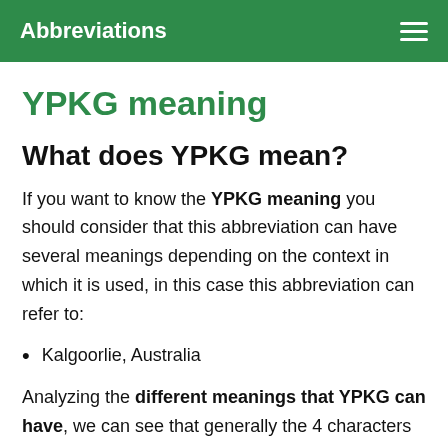Abbreviations
YPKG meaning
What does YPKG mean?
If you want to know the YPKG meaning you should consider that this abbreviation can have several meanings depending on the context in which it is used, in this case this abbreviation can refer to:
Kalgoorlie, Australia
Analyzing the different meanings that YPKG can have, we can see that generally the 4 characters